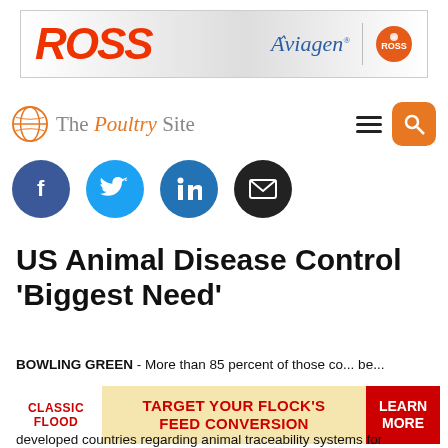[Figure (other): ROSS / Aviagen advertisement banner with ROSS logo]
The Poultry Site — navigation bar with hamburger menu and search button
[Figure (other): Social media share buttons: Facebook, Twitter, LinkedIn, Email]
US Animal Disease Control 'Biggest Need'
BOWLING GREEN - More than 85 percent of those co... be...
[Figure (other): Classic Flood / Target Your Flock's Feed Conversion advertisement banner with Learn More CTA]
developed countries regarding animal traceability systems for marketing and disease control purposes.